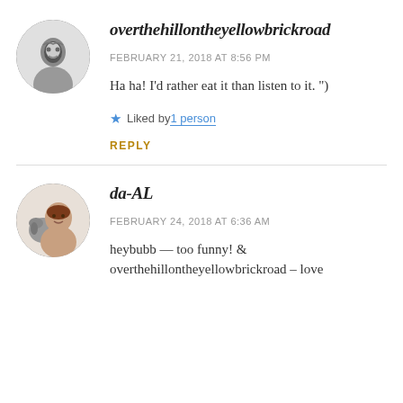overthehillontheyellowbrickroad
FEBRUARY 21, 2018 AT 8:56 PM
Ha ha! I'd rather eat it than listen to it. ")
★ Liked by 1 person
REPLY
da-AL
FEBRUARY 24, 2018 AT 6:36 AM
heybubb — too funny! & overthehillontheyellowbrickroad – love